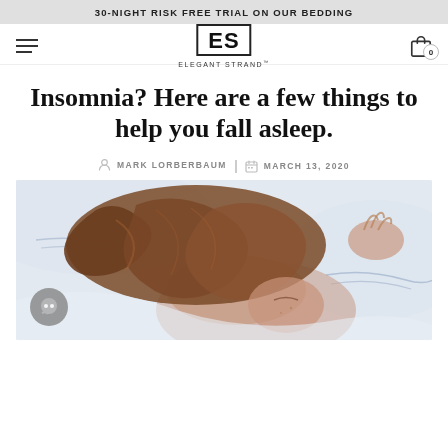30-NIGHT RISK FREE TRIAL ON OUR BEDDING
[Figure (logo): Elegant Strand logo: ES in a box, with ELEGANT STRAND text below]
Insomnia? Here are a few things to help you fall asleep.
MARK LORBERBAUM  MARCH 13, 2020
[Figure (photo): Woman with long brown hair sleeping on white bedding, viewed from above]